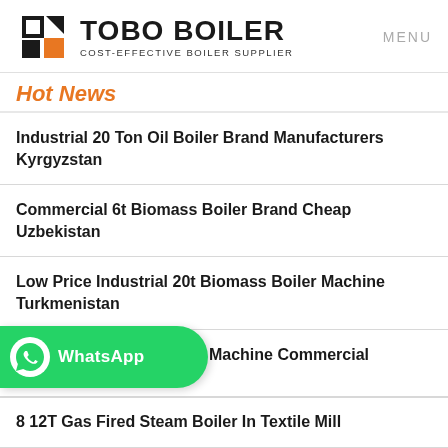[Figure (logo): Tobo Boiler logo with geometric icon and text 'TOBO BOILER - COST-EFFECTIVE BOILER SUPPLIER']
MENU
Hot News
Industrial 20 Ton Oil Boiler Brand Manufacturers Kyrgyzstan
Commercial 6t Biomass Boiler Brand Cheap Uzbekistan
Low Price Industrial 20t Biomass Boiler Machine Turkmenistan
Dealer 2t Biomass Boiler Machine Commercial Belarus
[Figure (screenshot): WhatsApp green button overlay with WhatsApp logo and label 'WhatsApp']
8 12T Gas Fired Steam Boiler In Textile Mill